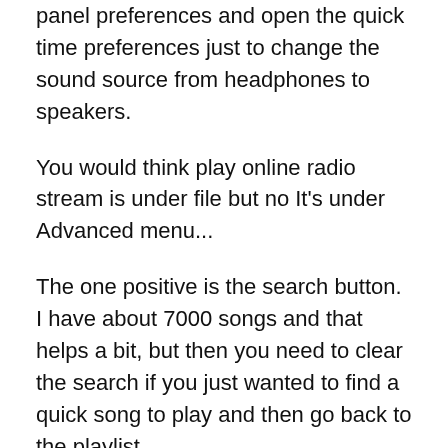panel preferences and open the quick time preferences just to change the sound source from headphones to speakers.
You would think play online radio stream is under file but no It's under Advanced menu...
The one positive is the search button. I have about 7000 songs and that helps a bit, but then you need to clear the search if you just wanted to find a quick song to play and then go back to the playlist.
I use Itunes for one reason and that only... FinalScratch which I use for DJing needs that to sink in new songs and playlists with